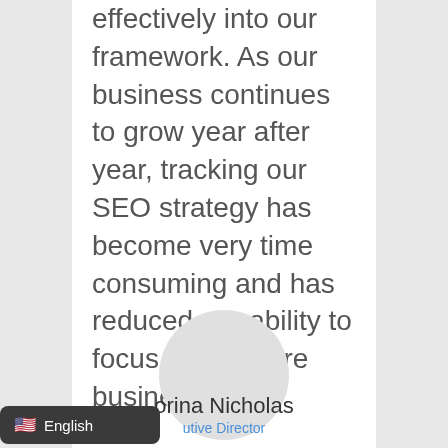effectively into our framework. As our business continues to grow year after year, tracking our SEO strategy has become very time consuming and has reduced our ability to focus on our core business."
[Figure (photo): Circular avatar placeholder (light gray circle) for the person being quoted]
orina Nicholas
utive Director
🇺🇸 English